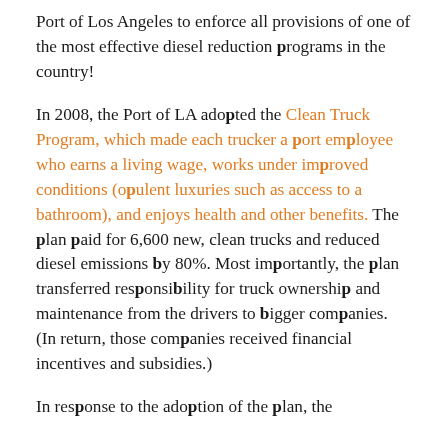Port of Los Angeles to enforce all provisions of one of the most effective diesel reduction programs in the country!
In 2008, the Port of LA adopted the Clean Truck Program, which made each trucker a port employee who earns a living wage, works under improved conditions (opulent luxuries such as access to a bathroom), and enjoys health and other benefits.  The plan paid for 6,600 new, clean trucks and reduced diesel emissions by 80%.  Most importantly, the plan transferred responsibility for truck ownership and maintenance from the drivers to bigger companies.  (In return, those companies received financial incentives and subsidies.)
In response to the adoption of the plan, the